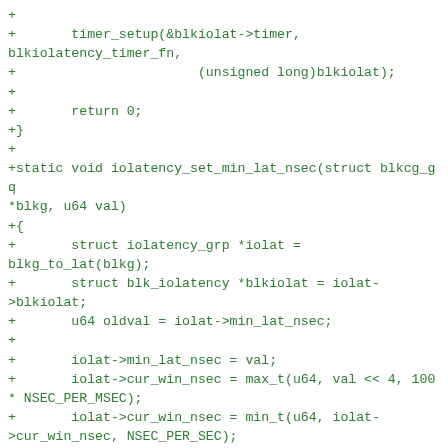+
+       timer_setup(&blkiolat->timer, blkiolatency_timer_fn,
+                       (unsigned long)blkiolat);
+
+       return 0;
+}
+
+static void iolatency_set_min_lat_nsec(struct blkcg_gq *blkg, u64 val)
+{
+       struct iolatency_grp *iolat = blkg_to_lat(blkg);
+       struct blk_iolatency *blkiolat = iolat->blkiolat;
+       u64 oldval = iolat->min_lat_nsec;
+
+       iolat->min_lat_nsec = val;
+       iolat->cur_win_nsec = max_t(u64, val << 4, 100 * NSEC_PER_MSEC);
+       iolat->cur_win_nsec = min_t(u64, iolat->cur_win_nsec, NSEC_PER_SEC);
+
+       if (!oldval && val)
+               atomic_inc(&blkiolat->enabled);
+       if (oldval && !val)
+               atomic_dec(&blkiolat->enabled);
+}
+
+static void iolatency_clear_scaling(struct blkcg_gq